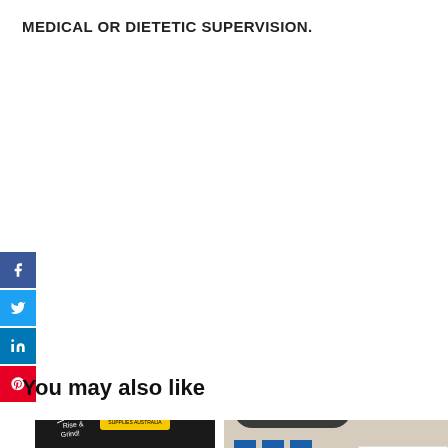MEDICAL OR DIETETIC SUPERVISION.
[Figure (infographic): Social media share buttons: Facebook (blue), Twitter (blue), LinkedIn (blue), Pinterest (red)]
You may also like
[Figure (photo): Protein Supplies Australia Keto Cacao product bag — black bag with orange KETO CACAO text, collagen infused ketogenic cacao label]
[Figure (photo): Protein Supplies Australia product (partially visible) with Chat with us overlay button and TrustedSite certified secure badge]